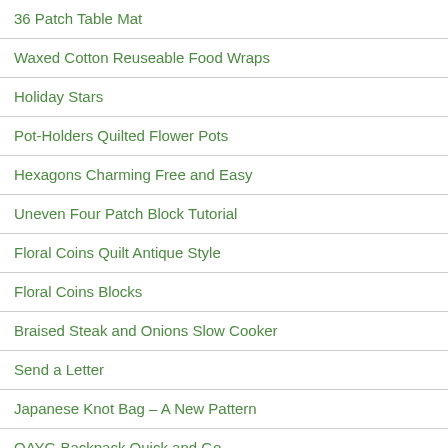36 Patch Table Mat
Waxed Cotton Reuseable Food Wraps
Holiday Stars
Pot-Holders Quilted Flower Pots
Hexagons Charming Free and Easy
Uneven Four Patch Block Tutorial
Floral Coins Quilt Antique Style
Floral Coins Blocks
Braised Steak and Onions Slow Cooker
Send a Letter
Japanese Knot Bag – A New Pattern
QAYG Backpack Quick and Go
Ohio Stars Part 2 – Sash It